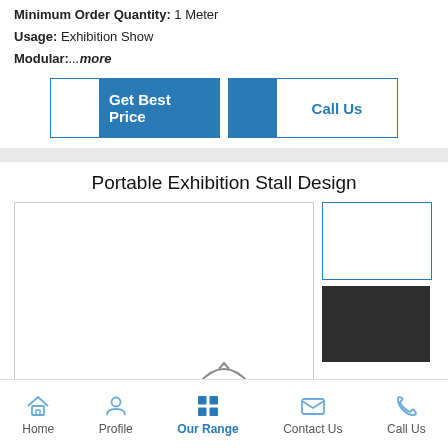Minimum Order Quantity: 1 Meter
Usage: Exhibition Show
Modular:...more
[Figure (other): Two buttons: 'Get Best Price' (blue fill) and 'Call Us' (outlined with blue text)]
Portable Exhibition Stall Design
[Figure (photo): Main large white image area with two thumbnails on the right: one white-bordered, one black/dark]
Home | Profile | Our Range | Contact Us | Call Us